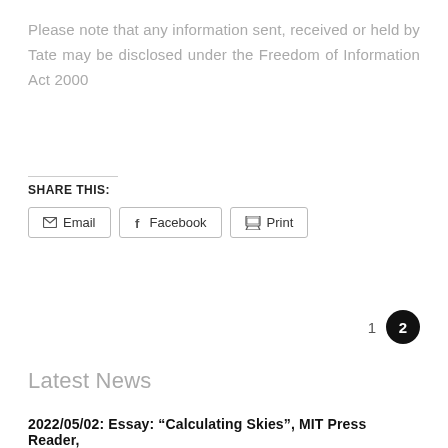Please note that any information sent, received or held by Tate may be disclosed under the Freedom of Information Act 2000
SHARE THIS:
Email  Facebook  Print
1  2
Latest News
2022/05/02: Essay: “Calculating Skies”, MIT Press Reader,